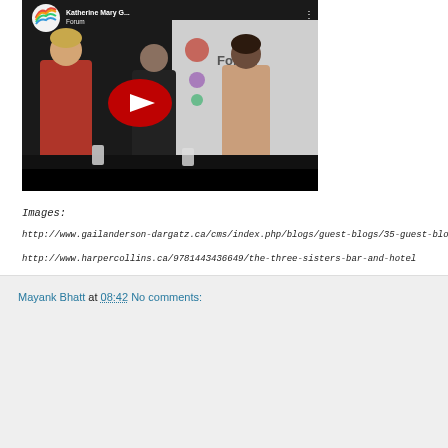[Figure (screenshot): YouTube video thumbnail showing three women seated in front of a forum backdrop. Title shown: 'Katherine Mary G... Forum'. YouTube play button visible in center. YouTube logo in top-left corner.]
Images:
http://www.gailanderson-dargatz.ca/cms/index.php/blogs/guest-blogs/35-guest-blogs/264-katherine-govier
http://www.harpercollins.ca/9781443436649/the-three-sisters-bar-and-hotel
Mayank Bhatt at 08:42     No comments:
Share